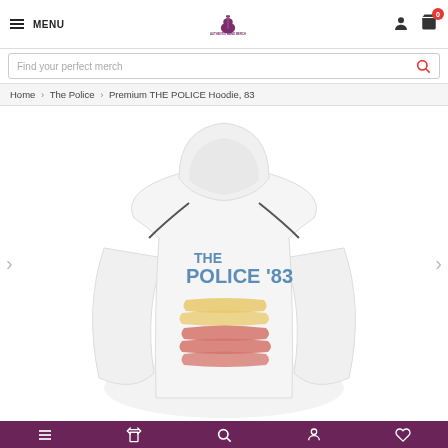MENU | Authentic Band Merch Logo | User icon | Cart (0)
Find your perfect merch
Home > The Police > Premium THE POLICE Hoodie, 83
[Figure (photo): White pullover hoodie displayed from the back showing THE POLICE '83 text in blue with yellow and red/pink brush stroke stripes below it]
Bottom navigation bar with icons